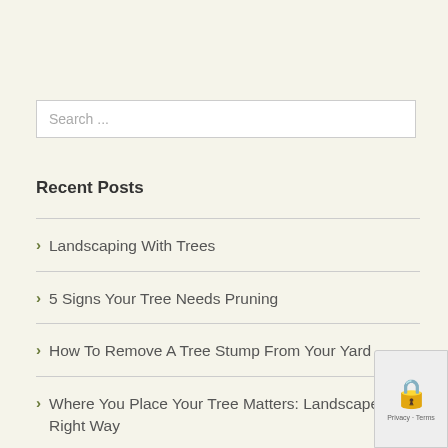Search ...
Recent Posts
Landscaping With Trees
5 Signs Your Tree Needs Pruning
How To Remove A Tree Stump From Your Yard
Where You Place Your Tree Matters: Landscape The Right Way